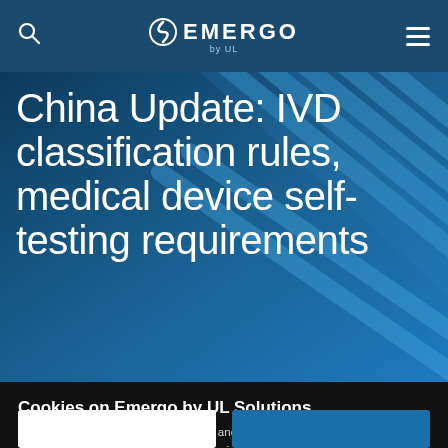EMERGO by UL
[Figure (photo): Hero image with architectural/abstract blue diagonal lines background, overlaid with large white title text]
China Update: IVD classification rules, medical device self-testing requirements
Cookies on Emergo by UL Solutions
We use cookies to personalize content and ads, to provide social media features and to analyze our traffic. We also share information about your use of our site with our social media, advertising and analytics partners. Learn more